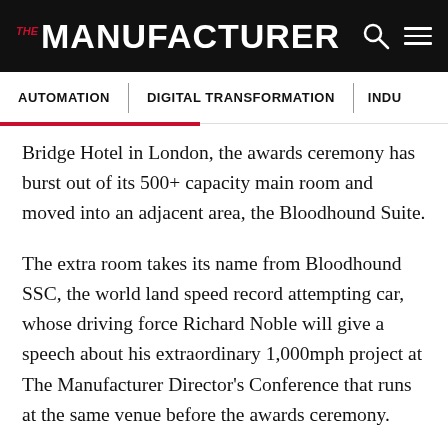THE MANUFACTURER
AUTOMATION | DIGITAL TRANSFORMATION | INDU...
Bridge Hotel in London, the awards ceremony has burst out of its 500+ capacity main room and moved into an adjacent area, the Bloodhound Suite.
The extra room takes its name from Bloodhound SSC, the world land speed record attempting car, whose driving force Richard Noble will give a speech about his extraordinary 1,000mph project at The Manufacturer Director's Conference that runs at the same venue before the awards ceremony.
Lord Digby Jones of Birmingham will provide the keynote speech at the awards on a night that will welcome the